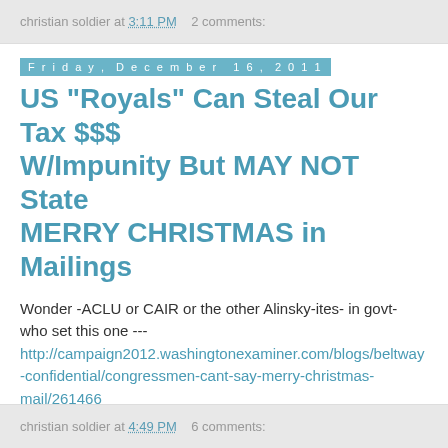christian soldier at 3:11 PM   2 comments:
Friday, December 16, 2011
US "Royals" Can Steal Our Tax $$$ W/Impunity But MAY NOT State MERRY CHRISTMAS in Mailings
Wonder -ACLU or CAIR or the other Alinsky-ites- in govt- who set this one --- http://campaign2012.washingtonexaminer.com/blogs/beltway-confidential/congressmen-cant-say-merry-christmas-mail/261466
BTW-
MERRY CHRISTMAS
christian soldier at 4:49 PM   6 comments: